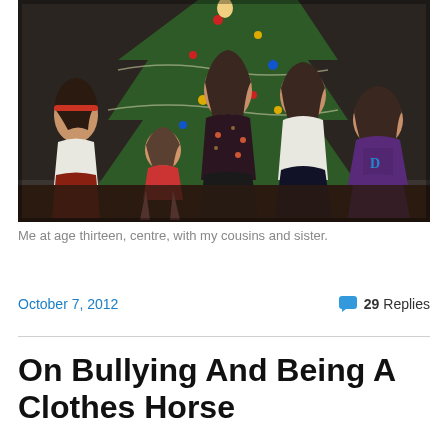[Figure (photo): Old family Christmas photo showing five children (four girls and one boy) sitting on the floor in front of a decorated Christmas tree. The children are of various ages. The photo appears to be from the 1990s.]
Me at age thirteen, centre, with my cousins and sister.
October 7, 2012
29 Replies
On Bullying And Being A Clothes Horse